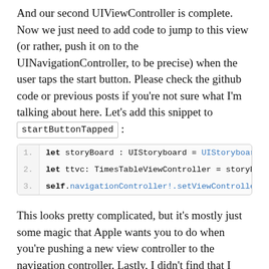And our second UIViewController is complete. Now we just need to add code to jump to this view (or rather, push it on to the UINavigationController, to be precise) when the user taps the start button. Please check the github code or previous posts if you're not sure what I'm talking about here. Let's add this snippet to startButtonTapped :
[Figure (screenshot): Code block showing 3 lines of Swift code: 1. let storyBoard : UIStoryboard = UIStoryboard(n  2. let ttvc: TimesTableViewController = storyBoar  3. self.navigationController!.setViewControllers(]
This looks pretty complicated, but it's mostly just some magic that Apple wants you to do when you're pushing a new view controller to the navigation controller. Lastly, I didn't find that I wanted the navigation bar to show up on the home view controller, just the times tables one. So I added